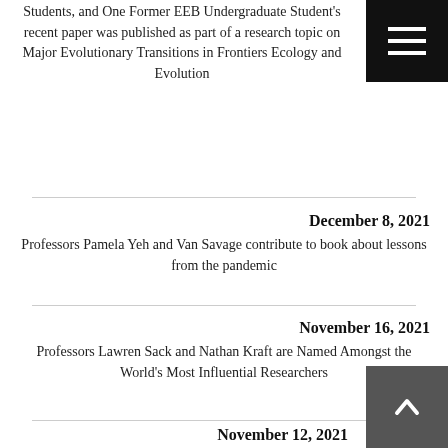Students, and One Former EEB Undergraduate Student's recent paper was published as part of a research topic on Major Evolutionary Transitions in Frontiers Ecology and Evolution
December 8, 2021
Professors Pamela Yeh and Van Savage contribute to book about lessons from the pandemic
November 16, 2021
Professors Lawren Sack and Nathan Kraft are Named Amongst the World's Most Influential Researchers
November 12, 2021
Professor Priyanga Amarasekare elected to the Ecological Society of America's Diversity Committee